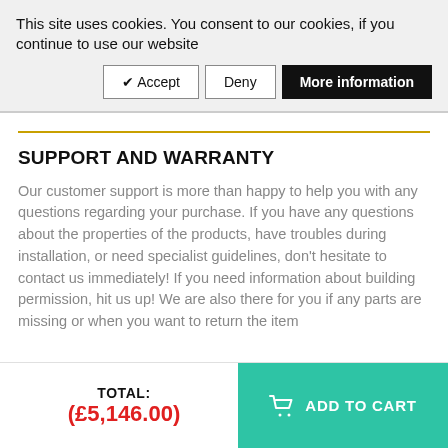This site uses cookies. You consent to our cookies, if you continue to use our website
✔ Accept | Deny | More information
SUPPORT AND WARRANTY
Our customer support is more than happy to help you with any questions regarding your purchase. If you have any questions about the properties of the products, have troubles during installation, or need specialist guidelines, don't hesitate to contact us immediately! If you need information about building permission, hit us up! We are also there for you if any parts are missing or when you want to return the item
TOTAL: (£5,146.00) ADD TO CART